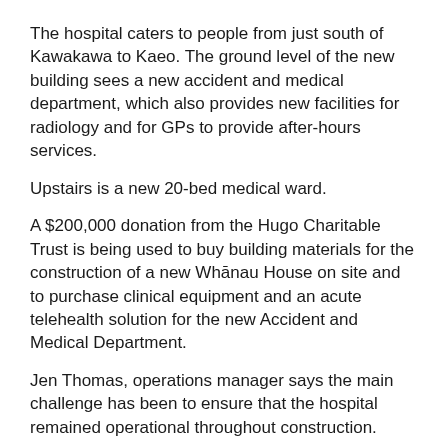The hospital caters to people from just south of Kawakawa to Kaeo. The ground level of the new building sees a new accident and medical department, which also provides new facilities for radiology and for GPs to provide after-hours services.
Upstairs is a new 20-bed medical ward.
A $200,000 donation from the Hugo Charitable Trust is being used to buy building materials for the construction of a new Whānau House on site and to purchase clinical equipment and an acute telehealth solution for the new Accident and Medical Department.
Jen Thomas, operations manager says the main challenge has been to ensure that the hospital remained operational throughout construction.
“It is important to acknowledge the staff and community for their patience over the last 15-months. It is always disruptive working around a ‘live’ construction site, however everyone has taken it in their stride and very shortly it will all be open ready to better serve our community.”
A key feature of the project has been the artwork provided by staff and members of the community. Photographs that depict the Mid Northland environment and traditions have been placed on...